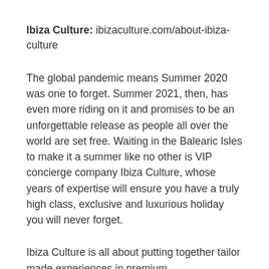Ibiza Culture: ibizaculture.com/about-ibiza-culture
The global pandemic means Summer 2020 was one to forget. Summer 2021, then, has even more riding on it and promises to be an unforgettable release as people all over the world are set free. Waiting in the Balearic Isles to make it a summer like no other is VIP concierge company Ibiza Culture, whose years of expertise will ensure you have a truly high class, exclusive and luxurious holiday you will never forget.
Ibiza Culture is all about putting together tailor made experiences in premium